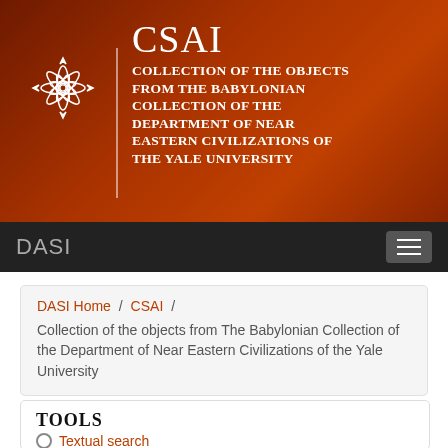[Figure (logo): CSAI header banner with decorative flower/rosette logo on dark brown-orange gradient background. Title: CSAI. Subtitle: COLLECTION OF THE OBJECTS FROM THE BABYLONIAN COLLECTION OF THE DEPARTMENT OF NEAR EASTERN CIVILIZATIONS OF THE YALE UNIVERSITY]
DASI
DASI Home / CSAI / Collection of the objects from The Babylonian Collection of the Department of Near Eastern Civilizations of the Yale University
TOOLS
Textual search